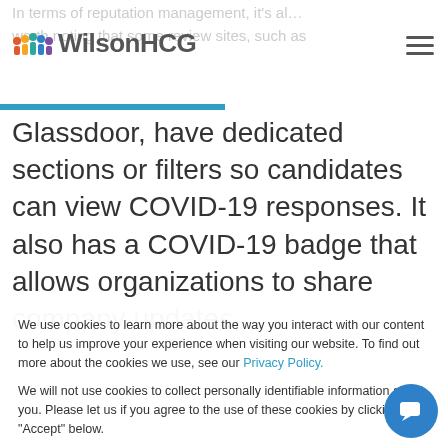WilsonHCG
In terms of reputation management, it's also worth noting that some review sites, such as Glassdoor, have dedicated sections or filters so candidates can view COVID-19 responses. It also has a COVID-19 badge that allows organizations to share company updates,
We use cookies to learn more about the way you interact with our content to help us improve your experience when visiting our website. To find out more about the cookies we use, see our Privacy Policy.
We will not use cookies to collect personally identifiable information about you. Please let us if you agree to the use of these cookies by clicking "Accept" below.